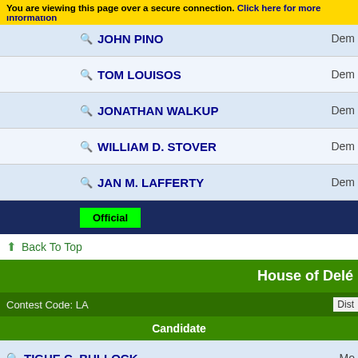You are viewing this page over a secure connection. Click here for more information
| Candidate | Party |
| --- | --- |
| JOHN PINO | Dem... |
| TOM LOUISOS | Dem... |
| JONATHAN WALKUP | Dem... |
| WILLIAM D. STOVER | Dem... |
| JAN M. LAFFERTY | Dem... |
Official
Back To Top
House of Del...
Contest Code: LA
Dist...
| Candidate | Party |
| --- | --- |
| TIGHE C. BULLOCK | Mo... |
Official
Back To Top